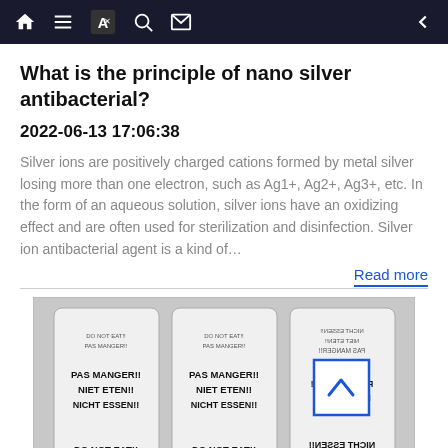Navigation bar with home, list, font, search, mail icons and back arrow
What is the principle of nano silver antibacterial?
2022-06-13 17:06:38
Silver ions are positively charged cations formed by metal silver losing more than one electron, such as Ag1+, Ag2+, Ag3+, etc. In the form of an aqueous solution, silver ions have an oxidizing effect and are often used for sterilization and disinfection. Silver ion antibacterial agent is a kind of…
Read more
[Figure (photo): Three white desiccant packets with multilingual 'DO NOT EAT / PAS MANGER / NIET ETEN / NICHT ESSEN' warnings printed in black bold text. The rightmost packet appears flipped/mirrored showing text reversed.]